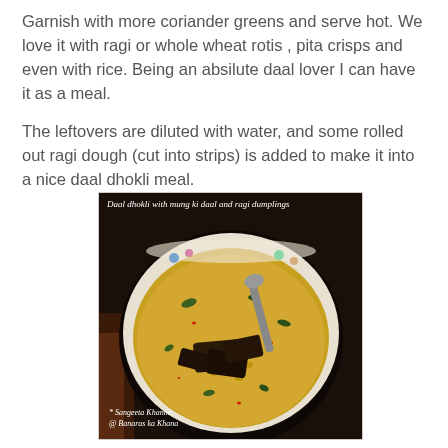Garnish with more coriander greens and serve hot. We love it with ragi or whole wheat rotis , pita crisps and even with rice. Being an absilute daal lover I can have it as a meal.

The leftovers are diluted with water, and some rolled out ragi dough (cut into strips) is added to make it into a nice daal dhokli meal.
[Figure (photo): A bowl of daal dhokli with mung ki daal and ragi dumplings. A bowl with yellow lentil soup containing dark ragi dumplings and a spoon resting in it. Photo credited to Sangeeta Khanna @ Banaras ka Khana.]